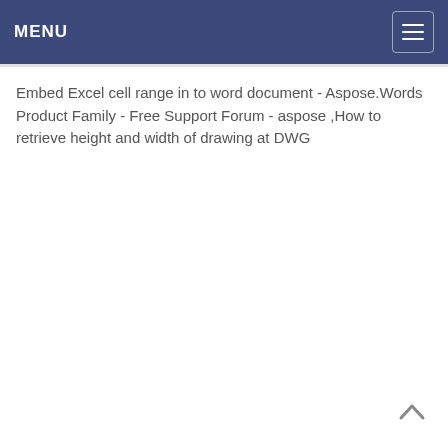MENU
Embed Excel cell range in to word document - Aspose.Words Product Family - Free Support Forum - aspose ,How to retrieve height and width of drawing at DWG